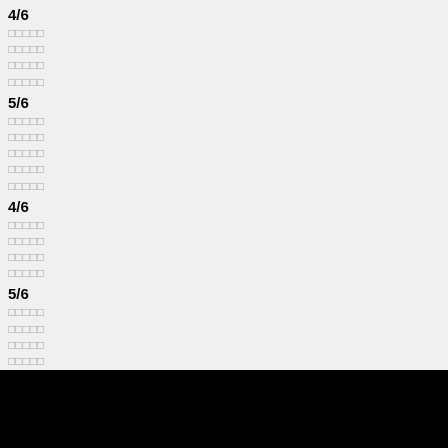4/6
□□□□□
□□□□□
□□□□□
□□□□□
5/6
□□□□□
□□□□□
□□□□□
□□□□□
□□□□□
4/6
□□□□□
□□□□□
□□□□□
□□□□□
5/6
□□□□□
□□□□□
□□□□□
□□□□□
□□□□□
Final 2/2
□□□□□
□□□□□